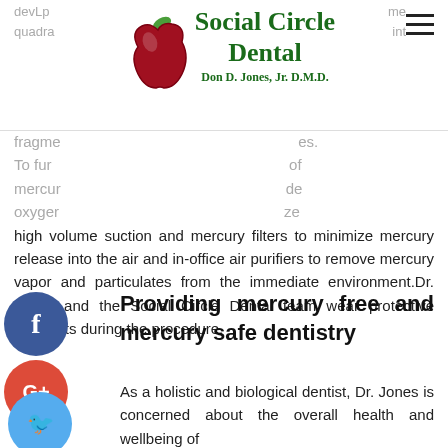Social Circle Dental — Don D. Jones, Jr. D.M.D.
[Figure (logo): Social Circle Dental logo with apple graphic and text 'Social Circle Dental Don D. Jones, Jr. D.M.D.' in dark green serif font]
fragme... es. To fur... of mercury... de oxygen... ze high volume suction and mercury filters to minimize mercury release into the air and in-office air purifiers to remove mercury vapor and particulates from the immediate environment. Dr. Jones and the Social Circle Dental team wear protective garments during the procedure.
Providing mercury free and mercury safe dentistry
As a holistic and biological dentist, Dr. Jones is concerned about the overall health and wellbeing of...